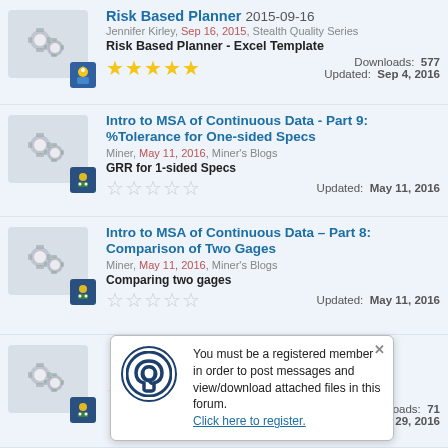Risk Based Planner 2015-09-16
Jennifer Kirley, Sep 16, 2015, Stealth Quality Series
Risk Based Planner - Excel Template
Downloads: 577  Updated: Sep 4, 2016
Intro to MSA of Continuous Data - Part 9: %Tolerance for One-sided Specs
Miner, May 11, 2016, Miner's Blogs
GRR for 1-sided Specs
Updated: May 11, 2016
Intro to MSA of Continuous Data – Part 8: Comparison of Two Gages
Miner, May 11, 2016, Miner's Blogs
Comparing two gages
Updated: May 11, 2016
You must be a registered member in order to post messages and view/download attached files in this forum. Click here to register.
Downloads: 71  Updated: Apr 29, 2016